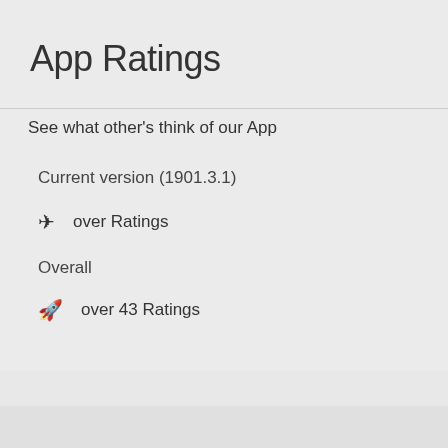App Ratings
See what other's think of our App
Current version (1901.3.1)
✈  over Ratings
Overall
🚀  over 43 Ratings